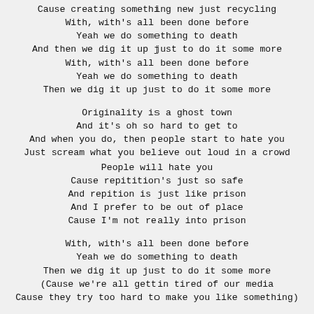Cause creating something new just recycling
With, with's all been done before
Yeah we do something to death
And then we dig it up just to do it some more
With, with's all been done before
Yeah we do something to death
Then we dig it up just to do it some more
Originality is a ghost town
And it's oh so hard to get to
And when you do, then people start to hate you
Just scream what you believe out loud in a crowd
People will hate you
Cause repitition's just so safe
And repition is just like prison
And I prefer to be out of place
Cause I'm not really into prison
With, with's all been done before
Yeah we do something to death
Then we dig it up just to do it some more
(Cause we're all gettin tired of our media
Cause they try too hard to make you like something)